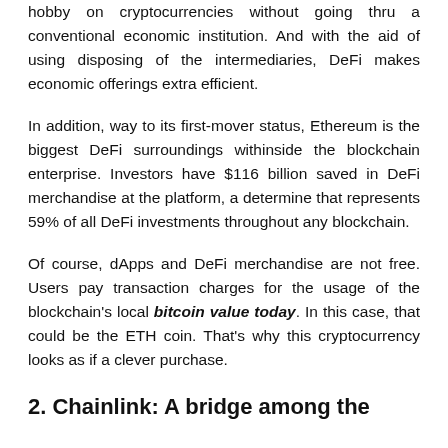hobby on cryptocurrencies without going thru a conventional economic institution. And with the aid of using disposing of the intermediaries, DeFi makes economic offerings extra efficient.
In addition, way to its first-mover status, Ethereum is the biggest DeFi surroundings withinside the blockchain enterprise. Investors have $116 billion saved in DeFi merchandise at the platform, a determine that represents 59% of all DeFi investments throughout any blockchain.
Of course, dApps and DeFi merchandise are not free. Users pay transaction charges for the usage of the blockchain's local bitcoin value today. In this case, that could be the ETH coin. That's why this cryptocurrency looks as if a clever purchase.
2. Chainlink: A bridge among the